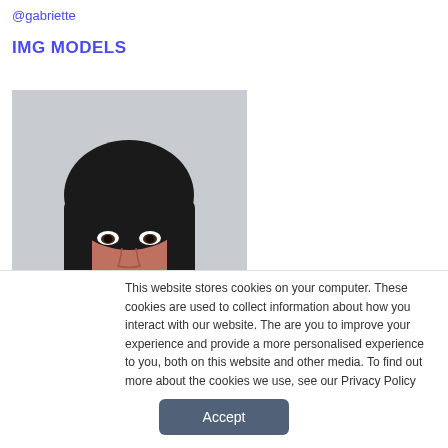@gabriette
IMG MODELS
[Figure (photo): Headshot of a young woman with dark hair and bangs against a light gray background, wearing a dark top with dots.]
This website stores cookies on your computer. These cookies are used to collect information about how you interact with our website. The are you to improve your experience and provide a more personalised experience to you, both on this website and other media. To find out more about the cookies we use, see our Privacy Policy
Accept